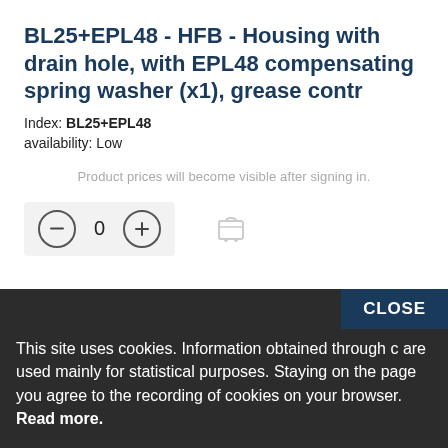BL25+EPL48 - HFB - Housing with drain hole, with EPL48 compensating spring washer (x1), grease contr
Index: BL25+EPL48
availability: Low
Product prices will become visible after signing in.
[Figure (other): Quantity selector with minus button, 0 value, plus button, and shopping cart icon]
This site uses cookies. Information obtained through c are used mainly for statistical purposes. Staying on the page you agree to the recording of cookies on your browser. Read more.